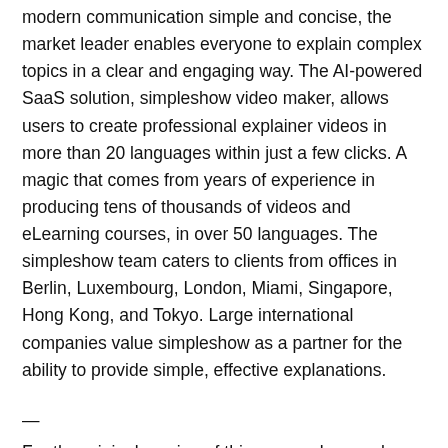modern communication simple and concise, the market leader enables everyone to explain complex topics in a clear and engaging way. The AI-powered SaaS solution, simpleshow video maker, allows users to create professional explainer videos in more than 20 languages within just a few clicks. A magic that comes from years of experience in producing tens of thousands of videos and eLearning courses, in over 50 languages. The simpleshow team caters to clients from offices in Berlin, Luxembourg, London, Miami, Singapore, Hong Kong, and Tokyo. Large international companies value simpleshow as a partner for the ability to provide simple, effective explanations.
—
For the original version of this press release, please visit 24-7PressRelease.com here